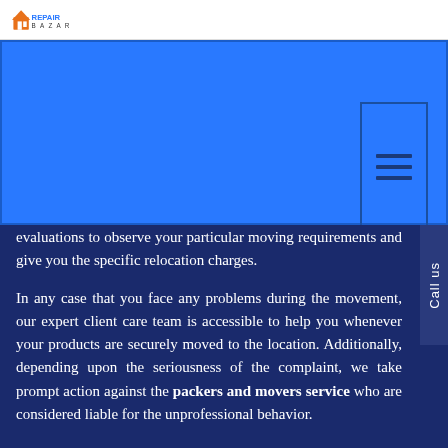Repair Bazar logo
[Figure (screenshot): Bright blue banner/hero section with a menu button (hamburger icon) in the top right corner]
evaluations to observe your particular moving requirements and give you the specific relocation charges.
In any case that you face any problems during the movement, our expert client care team is accessible to help you whenever your products are securely moved to the location. Additionally, depending upon the seriousness of the complaint, we take prompt action against the packers and movers service who are considered liable for the unprofessional behavior.